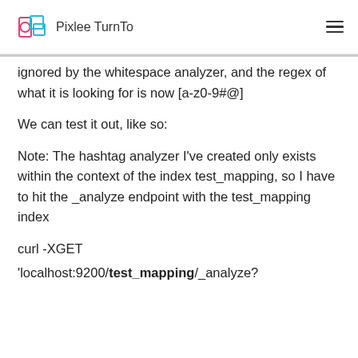Pixlee TurnTo
ignored by the whitespace analyzer, and the regex of what it is looking for is now [a-z0-9#@]
We can test it out, like so:
Note: The hashtag analyzer I've created only exists within the context of the index test_mapping, so I have to hit the _analyze endpoint with the test_mapping index
curl -XGET
'localhost:9200/test_mapping/_analyze?